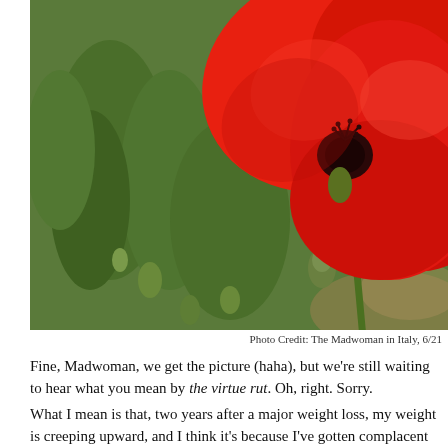[Figure (photo): Close-up photograph of a large bright red poppy flower with green stems and buds in the background. The poppy dominates the right side of the image with its vivid petals and dark center stamens.]
Photo Credit: The Madwoman in Italy, 6/21
Fine, Madwoman, we get the picture (haha), but we're still waiting to hear what you mean by the virtue rut. Oh, right. Sorry.
What I mean is that, two years after a major weight loss, my weight is creeping upward, and I think it's because I've gotten complacent and may